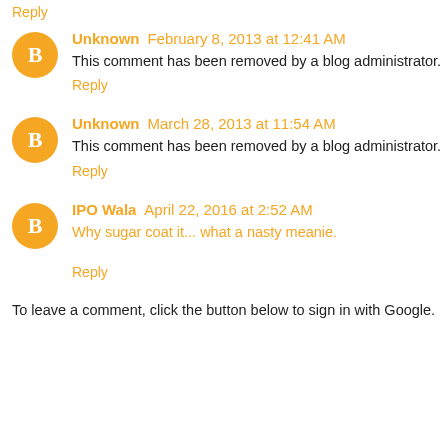Reply
Unknown February 8, 2013 at 12:41 AM
This comment has been removed by a blog administrator.
Reply
Unknown March 28, 2013 at 11:54 AM
This comment has been removed by a blog administrator.
Reply
IPO Wala April 22, 2016 at 2:52 AM
Why sugar coat it... what a nasty meanie.
Reply
To leave a comment, click the button below to sign in with Google.